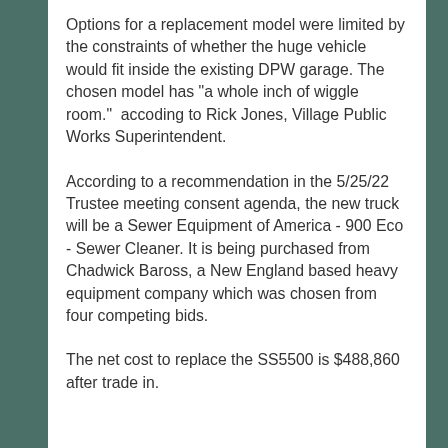Options for a replacement model were limited by the constraints of whether the huge vehicle would fit inside the existing DPW garage. The chosen model has "a whole inch of wiggle room."  accoding to Rick Jones, Village Public Works Superintendent.
According to a recommendation in the 5/25/22 Trustee meeting consent agenda, the new truck will be a Sewer Equipment of America - 900 Eco - Sewer Cleaner. It is being purchased from Chadwick Baross, a New England based heavy equipment company which was chosen from four competing bids.
The net cost to replace the SS5500 is $488,860 after trade in.